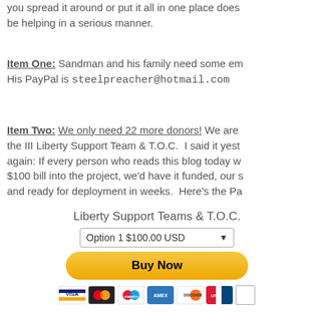you spread it around or put it all in one place doesn't be helping in a serious manner.
Item One: Sandman and his family need some em... His PayPal is steelpreacher@hotmail.com
Item Two: We only need 22 more donors! We are the III Liberty Support Team & T.O.C. I said it yest... again: If every person who reads this blog today w... $100 bill into the project, we'd have it funded, our s... and ready for deployment in weeks. Here's the Pa...
Liberty Support Teams & T.O.C.
[Figure (other): PayPal donation widget with dropdown 'Option 1 $100.00 USD', yellow Buy Now button, and payment card icons (Visa, Mastercard, Maestro, Amex, Discover, UnionPay, blank)]